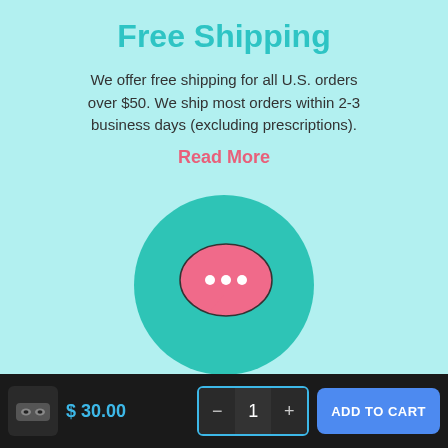Free Shipping
We offer free shipping for all U.S. orders over $50. We ship most orders within 2-3 business days (excluding prescriptions).
Read More
[Figure (illustration): Teal circle with a pink speech bubble chat icon containing three white dots]
Customer Support
$ 30.00
1
ADD TO CART